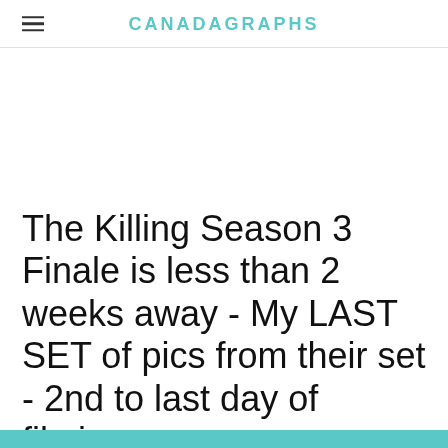CANADAGRAPHS
The Killing Season 3 Finale is less than 2 weeks away - My LAST SET of pics from their set - 2nd to last day of filming.
7/25/2013    2 Comments